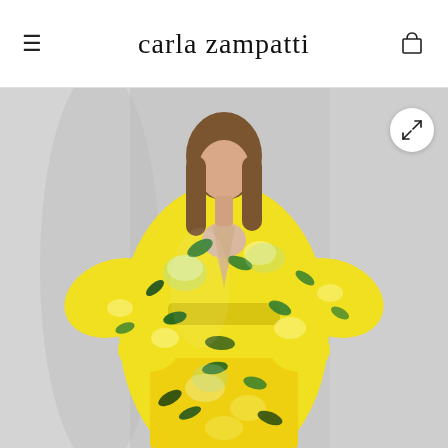carla zampatti
[Figure (photo): A woman wearing a yellow floral midi dress with long sleeves, featuring a lemon and leaf print pattern, deep V-neckline, and gathered waist. She stands against a light grey background with hands in pockets. The Carla Zampatti fashion brand website product photo.]